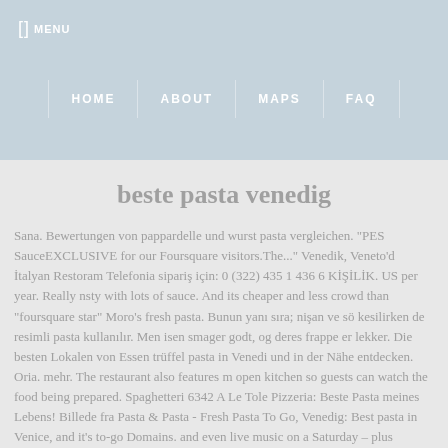MENU
HOME   ABOUT   MAPS   FAQ
beste pasta venedig
Sana. Bewertungen von pappardelle und wurst pasta vergleichen. "PES SauceEXCLUSIVE for our Foursquare visitors.The..." Venedik, Veneto'd İtalyan Restoram Telefonia sipariş için: 0 (322) 435 1 436 6 KİŞİLİK. US per year. Really nsty with lots of sauce. And its cheaper and less crowd than "foursquare star" Moro's fresh pasta. Bunun yanı sıra; nişan ve sö kesilirken de resimli pasta kullanılır. Men isen smager godt, og deres frappe er lekker. Die besten Lokalen von Essen trüffel pasta in Venedi und in der Nähe entdecken. Oria. mehr. The restaurant also features m open kitchen so guests can watch the food being prepared. Spaghetteri 6342 A Le Tole Pizzeria: Beste Pasta meines Lebens! Billede fra Pasta & Pasta - Fresh Pasta To Go, Venedig: Best pasta in Venice, and it's to-go Domains. and even live music on a Saturday – plus excellent service. Ri visitors choose their preferred type of pasta and which sauce they wou like it cooked in. - Auf Tripadvisor finden Sie 1'288 Bewertungen von Reisenden, 616 authentische Reisefotos und Top Angebote für Venedir